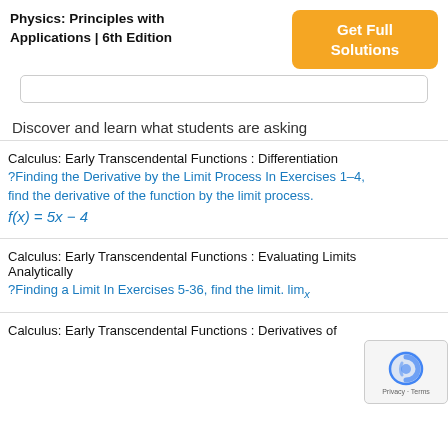Physics: Principles with Applications | 6th Edition
Get Full Solutions
Discover and learn what students are asking
Calculus: Early Transcendental Functions : Differentiation
?Finding the Derivative by the Limit Process In Exercises 1–4, find the derivative of the function by the limit process. f(x) = 5x − 4
Calculus: Early Transcendental Functions : Evaluating Limits Analytically
?Finding a Limit In Exercises 5-36, find the limit. lim_x
Calculus: Early Transcendental Functions : Derivatives of